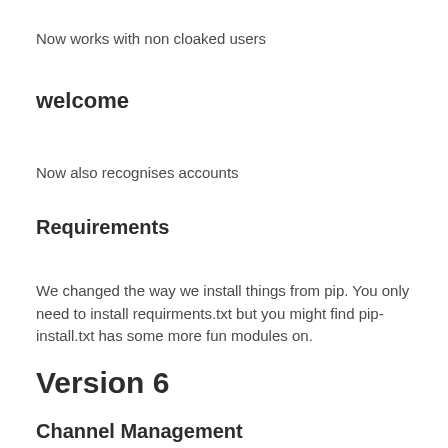Now works with non cloaked users
welcome
Now also recognises accounts
Requirements
We changed the way we install things from pip. You only need to install requirments.txt but you might find pip-install.txt has some more fun modules on.
Version 6
Channel Management